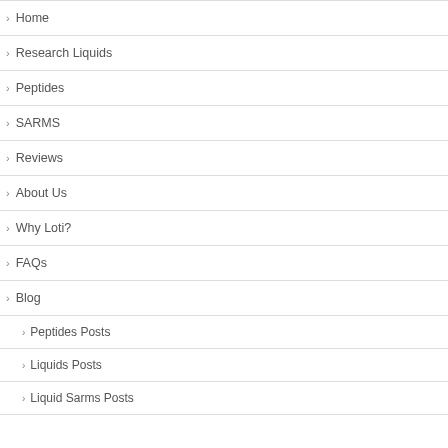Home
Research Liquids
Peptides
SARMS
Reviews
About Us
Why Loti?
FAQs
Blog
Peptides Posts
Liquids Posts
Liquid Sarms Posts